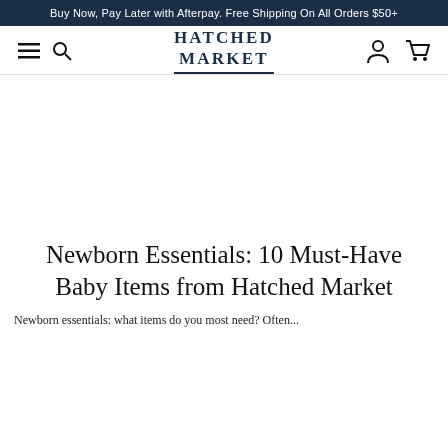Buy Now, Pay Later with Afterpay. Free Shipping On All Orders $50+
[Figure (logo): Hatched Market logo with hamburger menu, search icon, user icon, and cart icon in navigation bar]
[Figure (photo): Hero image area (appears blank/white in screenshot)]
Newborn Essentials: 10 Must-Have Baby Items from Hatched Market
Newborn essentials: what items do you most need? Often...